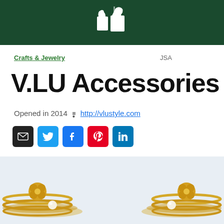[Figure (logo): Dark green header bar with a white shopping bag logo icon (Artfire marketplace logo)]
Crafts & Jewelry    JSA
V.LU Accessories
Opened in 2014 • http://vlustyle.com
[Figure (infographic): Row of social media icon buttons: email (black), Twitter (blue), Facebook (dark blue), Pinterest (red), LinkedIn (blue)]
[Figure (photo): Product photos of gold stacked rings with decorative cross/clover motifs and pearl accents, shown on a light blue-grey background, partially cropped at bottom of page]